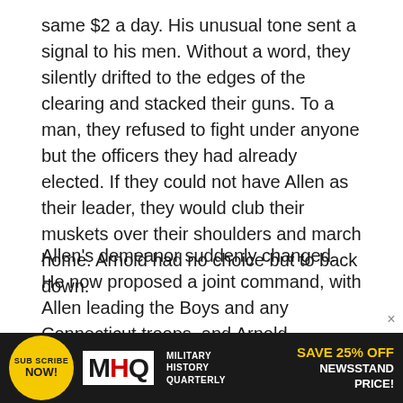same $2 a day. His unusual tone sent a signal to his men. Without a word, they silently drifted to the edges of the clearing and stacked their guns. To a man, they refused to fight under anyone but the officers they had already elected. If they could not have Allen as their leader, they would club their muskets over their shoulders and march home. Arnold had no choice but to back down.
Allen's demeanor suddenly changed. He now proposed a joint command, with Allen leading the Boys and any Connecticut troops, and Arnold commanding any soldiers who showed up from Massachusetts. As a token of reconciliation, Allen lent Arnold a short brass blunderbuss. The hair-triggered Arnold had ridden off to war without a
[Figure (infographic): Advertisement banner for Military History Quarterly (MHQ) magazine. Black background with yellow circle containing 'SUBSCRIBE NOW!', MHQ logo with red H, 'MILITARY HISTORY QUARTERLY' text, and 'SAVE 25% OFF NEWSSTAND PRICE!' in yellow text.]